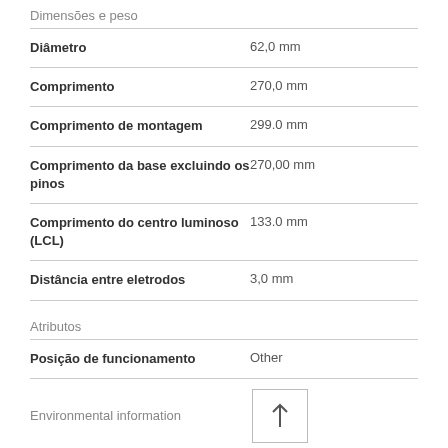Dimensões e peso
| Propriedade | Valor |
| --- | --- |
| Diâmetro | 62,0 mm |
| Comprimento | 270,0 mm |
| Comprimento de montagem | 299.0 mm |
| Comprimento da base excluindo os pinos | 270,00 mm |
| Comprimento do centro luminoso (LCL) | 133.0 mm |
| Distância entre eletrodos | 3,0 mm |
Atributos
| Propriedade | Valor |
| --- | --- |
| Posição de funcionamento | Other |
| Environmental information |  |